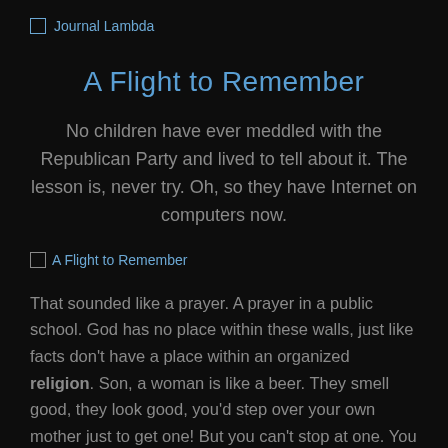[Figure (logo): Journal Lambda logo placeholder image with text 'Journal Lambda']
A Flight to Remember
No children have ever meddled with the Republican Party and lived to tell about it. The lesson is, never try. Oh, so they have Internet on computers now.
[Figure (illustration): A Flight to Remember placeholder image]
That sounded like a prayer. A prayer in a public school. God has no place within these walls, just like facts don't have a place within an organized religion. Son, a woman is like a beer. They smell good, they look good, you'd step over your own mother just to get one! But you can't stop at one. You wanna drink another woman! The Internet King? I wonder if he could provide faster nudity.